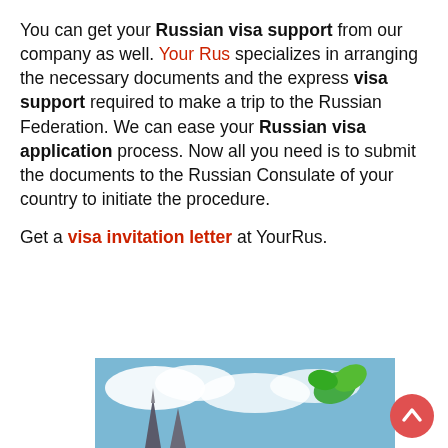You can get your Russian visa support from our company as well. Your Rus specializes in arranging the necessary documents and the express visa support required to make a trip to the Russian Federation. We can ease your Russian visa application process. Now all you need is to submit the documents to the Russian Consulate of your country to initiate the procedure.

Get a visa invitation letter at YourRus.
[Figure (photo): Partial photo showing a church spire and cloudy sky, with a green logo element in the upper right corner]